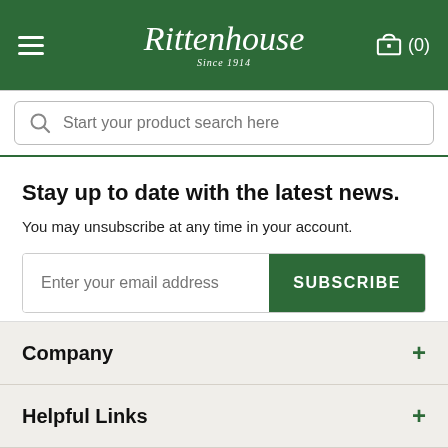[Figure (screenshot): Rittenhouse website header with green background, hamburger menu icon, Rittenhouse logo (Since 1914), and cart icon showing (0)]
[Figure (screenshot): Search bar with magnifying glass icon and placeholder text 'Start your product search here']
Stay up to date with the latest news.
You may unsubscribe at any time in your account.
[Figure (screenshot): Email subscription form with 'Enter your email address' input field and green SUBSCRIBE button]
This site is protected by reCAPTCHA and the Google Privacy Policy and Terms of Service apply.
Company
Helpful Links